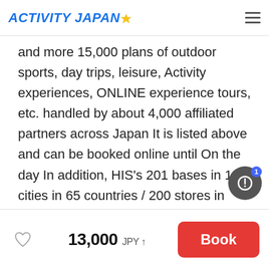ACTIVITY JAPAN
and more 15,000 plans of outdoor sports, day trips, leisure, Activity experiences, ONLINE experience tours, etc. handled by about 4,000 affiliated partners across Japan It is listed above and can be booked online until On the day In addition, HIS's 201 bases in 133 cities in 65 countries / 200 stores in Japan 2021) and media media of more 200 companies in Activity Japan 's own network are popular, cheap and recommended Activity information Japan We are currently sending reservations in English, Chinese (simplified and traditional), Korean, and Thai in
13,000 JPY ↑   Book